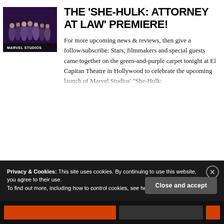[Figure (photo): Photo of cast/crew at the She-Hulk: Attorney at Law premiere in front of a Marvel Studios backdrop]
THE 'SHE-HULK: ATTORNEY AT LAW' PREMIERE!
For more upcoming news & reviews, then give a follow/subscribe: Stars, filmmakers and special guests came together on the green-and-purple carpet tonight at El Capitan Theatre in Hollywood to celebrate the upcoming launch of Marvel Studios' “She-Hulk:
Privacy & Cookies: This site uses cookies. By continuing to use this website, you agree to their use.
To find out more, including how to control cookies, see here: Cookie Policy
Close and accept